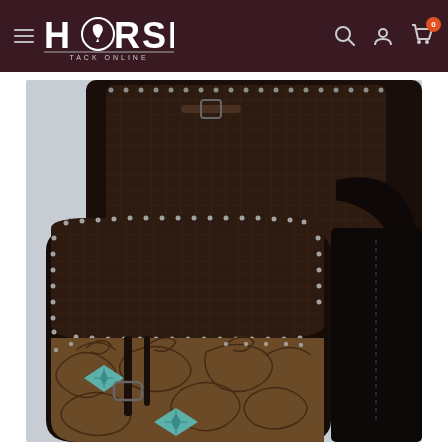Horse Tack Online - navigation header with hamburger menu, logo, search, account, and cart icons
[Figure (photo): Dark brown tooled leather western horse saddle bag with basket weave and floral tooling patterns, turquoise diamond inlay accents, silver studs along edges, and buckle straps. Photographed against a light gray background showing both the large rear bag and smaller front bag.]